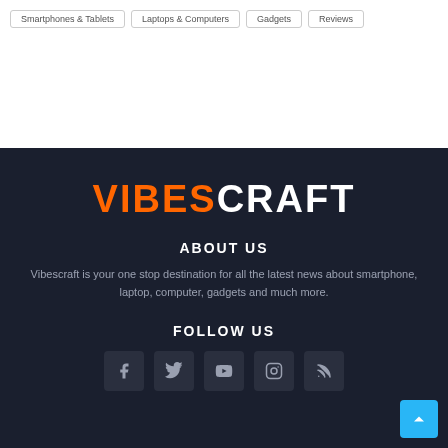Navigation pills row (partially visible at top)
[Figure (logo): VIBESCRAFT logo with VIBES in orange and CRAFT in white, bold large sans-serif font]
ABOUT US
Vibescraft is your one stop destination for all the latest news about smartphone, laptop, computer, gadgets and much more.
FOLLOW US
[Figure (infographic): Social media icons row: Facebook, Twitter, YouTube, Instagram, RSS feed — dark rounded square buttons on dark background]